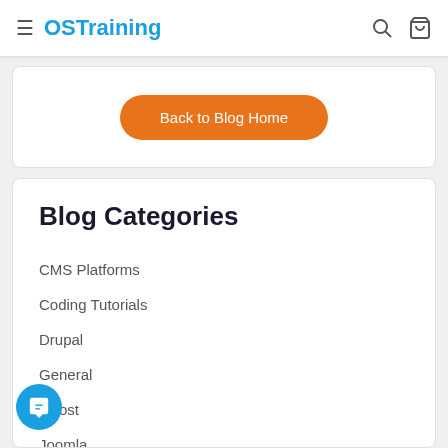OSTraining
Back to Blog Home
Blog Categories
CMS Platforms
Coding Tutorials
Drupal
General
Ghost
Joomla
Live Blog Posts
Magento Tutorials